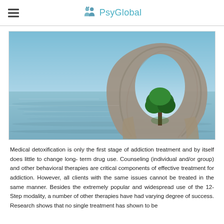PsyGlobal
[Figure (photo): Surreal digital artwork showing a large circular stone arch structure emerging from calm blue water with a lone green tree standing in the center of the arch, set against a blue sky.]
Medical detoxification is only the first stage of addiction treatment and by itself does little to change long- term drug use. Counseling (individual and/or group) and other behavioral therapies are critical components of effective treatment for addiction. However, all clients with the same issues cannot be treated in the same manner. Besides the extremely popular and widespread use of the 12- Step modality, a number of other therapies have had varying degree of success. Research shows that no single treatment has shown to be